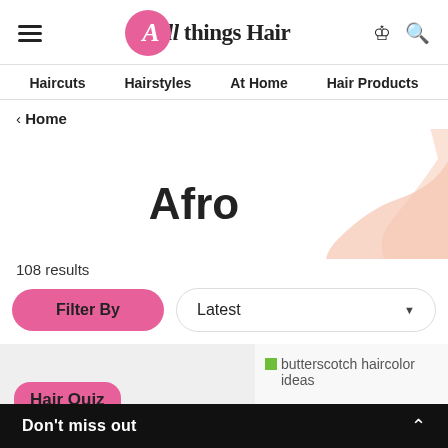All things Hair — navigation header with hamburger menu, logo, user icon, search icon
Haircuts  Hairstyles  At Home  Hair Products
< Home
Afro
108 results
Filter By
Latest
Hair Quiz
[Figure (screenshot): Partial thumbnail image labeled 'butterscotch haircolor ideas']
Don't miss out